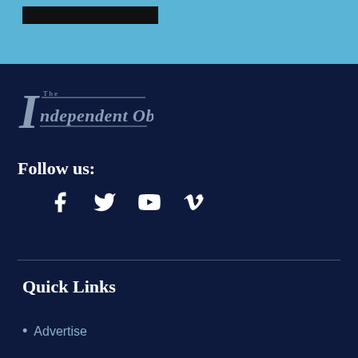[Figure (logo): The Independent Observer newspaper logo in old English/gothic font on dark navy background]
Follow us:
[Figure (infographic): Social media icons: Facebook, Twitter, YouTube, Vimeo]
Quick Links
Advertise